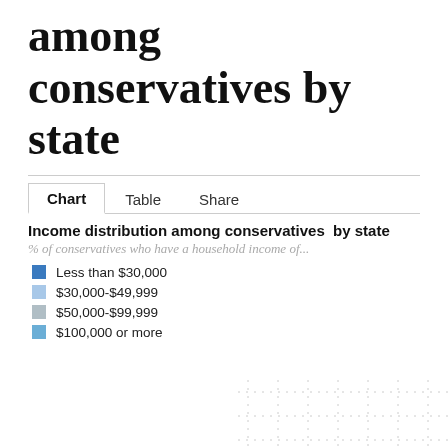among conservatives by state
Chart	Table	Share
Income distribution among conservatives by state
% of conservatives who have a household income of...
Less than $30,000
$30,000-$49,999
$50,000-$99,999
$100,000 or more
[Figure (other): Partial dotted grid lines visible at bottom right, suggesting a chart continues below the visible area.]